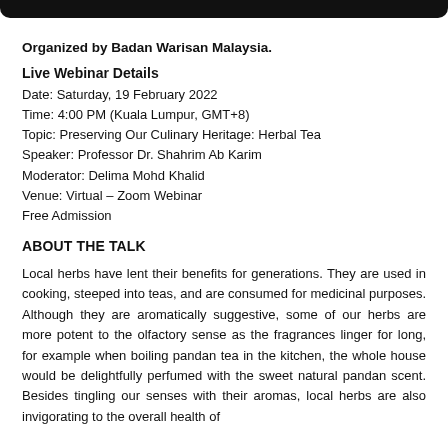[Figure (other): Dark rounded bar at top of page]
Organized by Badan Warisan Malaysia.
Live Webinar Details
Date: Saturday, 19 February 2022
Time: 4:00 PM (Kuala Lumpur, GMT+8)
Topic: Preserving Our Culinary Heritage: Herbal Tea
Speaker: Professor Dr. Shahrim Ab Karim
Moderator: Delima Mohd Khalid
Venue: Virtual – Zoom Webinar
Free Admission
ABOUT THE TALK
Local herbs have lent their benefits for generations. They are used in cooking, steeped into teas, and are consumed for medicinal purposes. Although they are aromatically suggestive, some of our herbs are more potent to the olfactory sense as the fragrances linger for long, for example when boiling pandan tea in the kitchen, the whole house would be delightfully perfumed with the sweet natural pandan scent. Besides tingling our senses with their aromas, local herbs are also invigorating to the overall health of